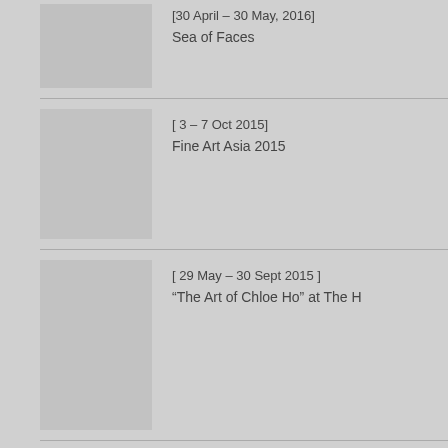[30 April – 30 May, 2016]
Sea of Faces
[ 3 – 7 Oct 2015]
Fine Art Asia 2015
[ 29 May – 30 Sept 2015 ]
“The Art of Chloe Ho” at The H
Mind-Scape II 16.01 – 28.02.20